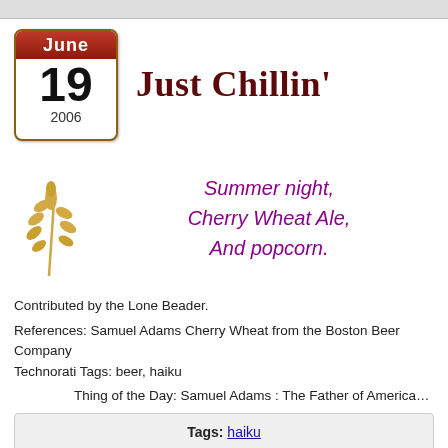Just Chillin'
Summer night,
Cherry Wheat Ale,
And popcorn.
Contributed by the Lone Beader.
References: Samuel Adams Cherry Wheat from the Boston Beer Company
Technorati Tags: beer, haiku
Thing of the Day: Samuel Adams : The Father of American Independence
Tags: haiku
See the whole post :: Be the first to comment!
Go ahead. Rate this haiku!
(No Ratings Yet)